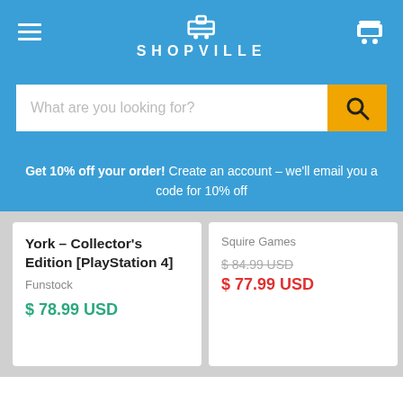SHOPVILLE
What are you looking for?
Get 10% off your order! Create an account – we'll email you a code for 10% off
York – Collector's Edition [PlayStation 4]
Funstock
$78.99 USD
Squire Games
$84.99 USD (original)
$77.99 USD (sale)